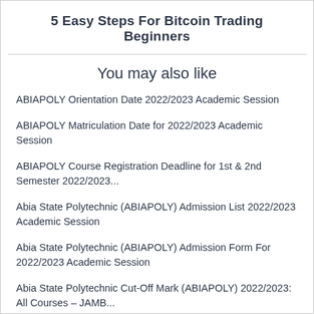5 Easy Steps For Bitcoin Trading Beginners
You may also like
ABIAPOLY Orientation Date 2022/2023 Academic Session
ABIAPOLY Matriculation Date for 2022/2023 Academic Session
ABIAPOLY Course Registration Deadline for 1st & 2nd Semester 2022/2023...
Abia State Polytechnic (ABIAPOLY) Admission List 2022/2023 Academic Session
Abia State Polytechnic (ABIAPOLY) Admission Form For 2022/2023 Academic Session
Abia State Polytechnic Cut-Off Mark (ABIAPOLY) 2022/2023: All Courses – JAMB...
Leave a Comment